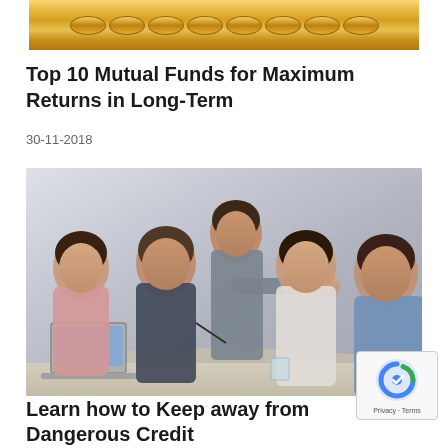[Figure (photo): Coins stacked image, partially visible at top of page]
Top 10 Mutual Funds for Maximum Returns in Long-Term
30-11-2018
[Figure (photo): Business meeting: four professionals gathered around a laptop, one pointing at the screen]
Learn how to Keep away from Dangerous Credit